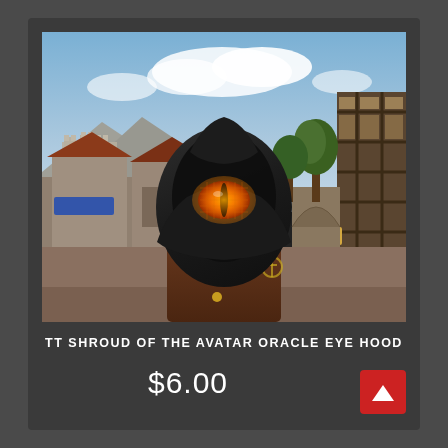[Figure (screenshot): In-game screenshot of a character wearing a dark hooded cloak with a glowing orange reptilian eye visible under the hood. The character also wears a brown coat with runic symbols. Background shows a medieval fantasy town with stone buildings, thatched roofs, trees, and a blue sky with clouds.]
TT SHROUD OF THE AVATAR ORACLE EYE HOOD
$6.00